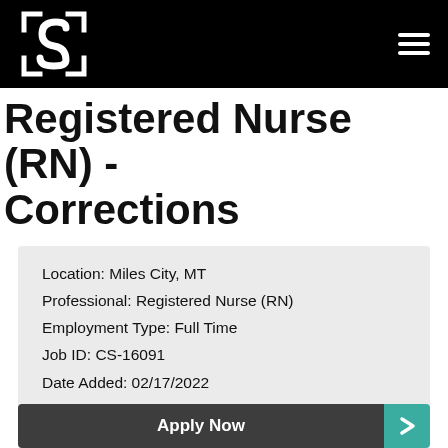Registered Nurse (RN) - Corrections — site header with logo and menu
Registered Nurse (RN) - Corrections
Location: Miles City, MT
Professional: Registered Nurse (RN)
Employment Type: Full Time
Job ID: CS-16091
Date Added: 02/17/2022
Apply Now